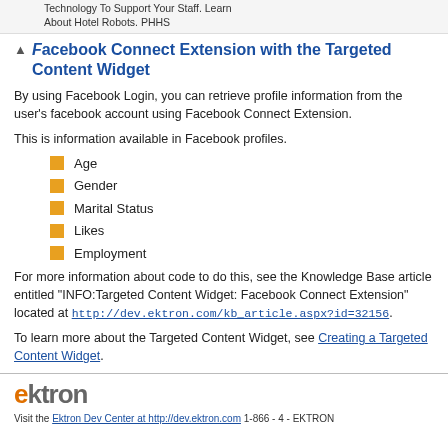Technology To Support Your Staff. Learn About Hotel Robots. PHHS
Facebook Connect Extension with the Targeted Content Widget
By using Facebook Login, you can retrieve profile information from the user's facebook account using Facebook Connect Extension.
This is information available in Facebook profiles.
Age
Gender
Marital Status
Likes
Employment
For more information about code to do this, see the Knowledge Base article entitled "INFO:Targeted Content Widget: Facebook Connect Extension" located at http://dev.ektron.com/kb_article.aspx?id=32156.
To learn more about the Targeted Content Widget, see Creating a Targeted Content Widget.
ektron — Visit the Ektron Dev Center at http://dev.ektron.com 1-866 - 4 - EKTRON